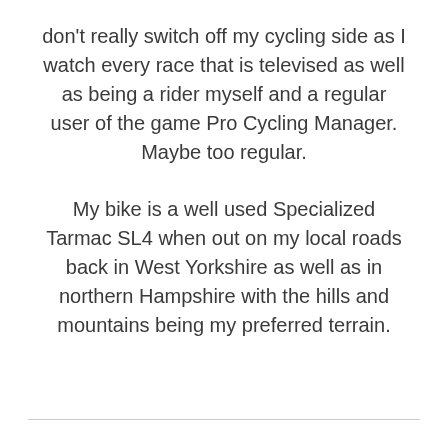don't really switch off my cycling side as I watch every race that is televised as well as being a rider myself and a regular user of the game Pro Cycling Manager. Maybe too regular.
My bike is a well used Specialized Tarmac SL4 when out on my local roads back in West Yorkshire as well as in northern Hampshire with the hills and mountains being my preferred terrain.